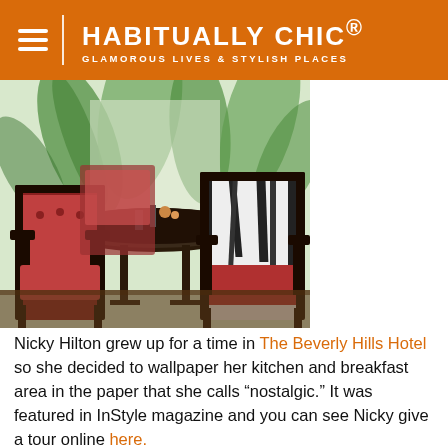HABITUALLY CHIC® — GLAMOROUS LIVES & STYLISH PLACES
[Figure (photo): Dining room with red and black patterned armchairs around a dark table, tropical leaf wallpaper in the background — Nicky Hilton's kitchen and breakfast area.]
Nicky Hilton grew up for a time in The Beverly Hills Hotel so she decided to wallpaper her kitchen and breakfast area in the paper that she calls "nostalgic." It was featured in InStyle magazine and you can see Nicky give a tour online here.